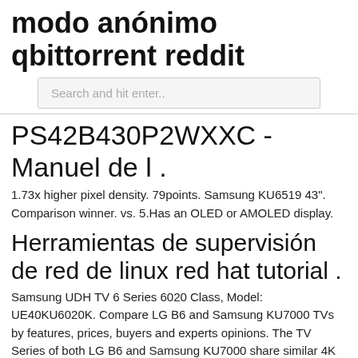modo anónimo qbittorrent reddit
Search and hit enter..
PS42B430P2WXXC - Manuel de l .
1.73x higher pixel density. 79points. Samsung KU6519 43". Comparison winner. vs. 5.Has an OLED or AMOLED display.
Herramientas de supervisión de red de linux red hat tutorial .
Samsung UDH TV 6 Series 6020 Class, Model: UE40KU6020K. Compare LG B6 and Samsung KU7000 TVs by features, prices, buyers and experts opinions. The TV Series of both LG B6 and Samsung KU7000 share similar 4K screen resolution (3840×2160) and affording to both optimum visual sharpness. Samsung 48JU6412 (JU6400 series) UHD settings after calibration with peak brightness of 190 nits. Model also called: Samsung UN40KU6000, Samsung KU6000 Samsung Official Page: goo.gl/XFvhJv Main Features : 4K